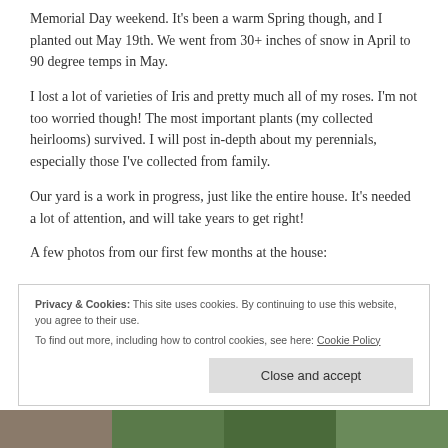Memorial Day weekend. It's been a warm Spring though, and I planted out May 19th. We went from 30+ inches of snow in April to 90 degree temps in May.
I lost a lot of varieties of Iris and pretty much all of my roses. I'm not too worried though! The most important plants (my collected heirlooms) survived. I will post in-depth about my perennials, especially those I've collected from family.
Our yard is a work in progress, just like the entire house. It's needed a lot of attention, and will take years to get right!
A few photos from our first few months at the house:
Privacy & Cookies: This site uses cookies. By continuing to use this website, you agree to their use.
To find out more, including how to control cookies, see here: Cookie Policy
Close and accept
[Figure (photo): Bottom strip showing four thumbnail photos of yard/garden areas]